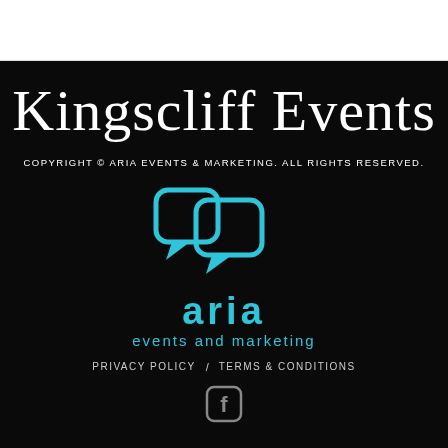Kingscliff Events
COPYRIGHT © ARIA EVENTS & MARKETING. ALL RIGHTS RESERVED.
[Figure (logo): Aria Events and Marketing logo: two cyan speech bubble icons above the word 'aria' in bold cyan, with 'events and marketing' in lighter cyan below]
PRIVACY POLICY  /  TERMS & CONDITIONS
[Figure (logo): Facebook icon in dark gray/white outline style]